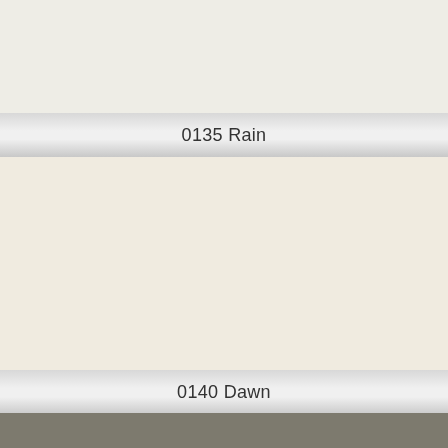[Figure (illustration): Paint color swatch for 0135 Rain — light warm gray/off-white color block]
0135 Rain
[Figure (illustration): Paint color swatch for 0140 Dawn — warm cream/ivory color block]
0140 Dawn
[Figure (illustration): Paint color swatch (partial) — medium warm gray/khaki color block, color name not visible]